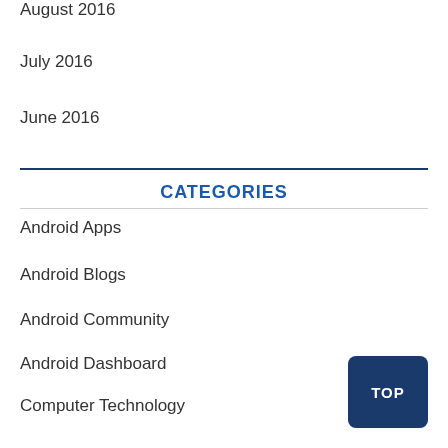August 2016
July 2016
June 2016
CATEGORIES
Android Apps
Android Blogs
Android Community
Android Dashboard
Computer Technology
Cool Gadgets For Men
Cool Tech Gadgets